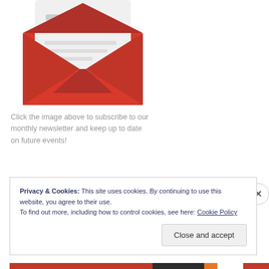[Figure (illustration): Open red envelope with a white letter/card partially visible inside, with text lines shown as gray bars on the card. Red triangular flap open at top.]
Click the image above to subscribe to our monthly newsletter and keep up to date on future events!
Privacy & Cookies: This site uses cookies. By continuing to use this website, you agree to their use.
To find out more, including how to control cookies, see here: Cookie Policy
Close and accept